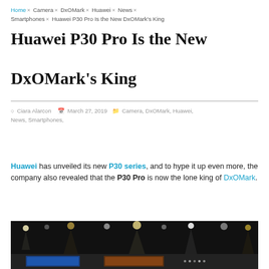Home × Camera × DxOMark × Huawei × News × Smartphones × Huawei P30 Pro Is the New DxOMark's King
Huawei P30 Pro Is the New DxOMark's King
Ciara Alarcon   March 27, 2019   Camera, DxOMark, Huawei, News, Smartphones,
Huawei has unveiled its new P30 series, and to hype it up even more, the company also revealed that the P30 Pro is now the lone king of DxOMark.
[Figure (photo): Dark stage with bright spotlights at a Huawei product launch event, showing display screens at the bottom]